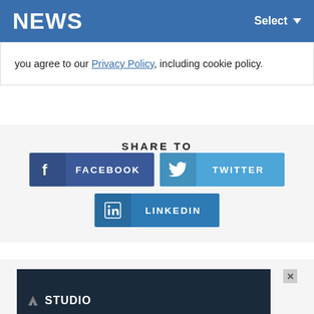NEWS  Select
you agree to our Privacy Policy, including cookie policy.
SHARE TO
[Figure (infographic): Social sharing buttons: Facebook, Twitter, LinkedIn]
[Figure (screenshot): Advertisement banner showing G Studio logo on dark background with close (X) button]